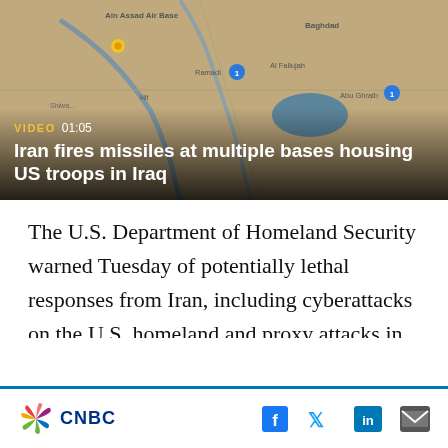[Figure (screenshot): Video thumbnail showing a satellite/aerial map of Iraq with location markers. Overlay shows VIDEO badge, duration 01:05, and headline 'Iran fires missiles at multiple bases housing US troops in Iraq' on a dark gradient.]
The U.S. Department of Homeland Security warned Tuesday of potentially lethal responses from Iran, including cyberattacks on the U.S. homeland and proxy attacks in Middle Eastern countries where U.S. troops are operating.
Washington has called on all U.S. citizens in Iraq to leave the country immediately, and is sending
CNBC [logo] — social icons: Facebook, Twitter, LinkedIn, Email